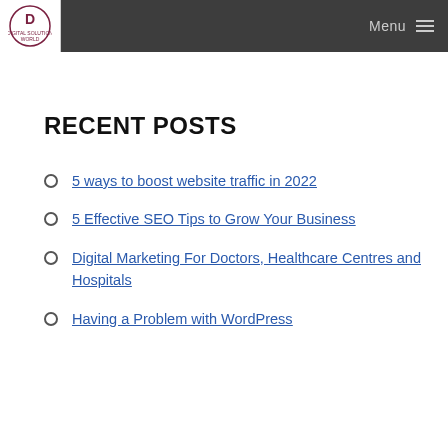Digital Solution World — Menu
RECENT POSTS
5 ways to boost website traffic in 2022
5 Effective SEO Tips to Grow Your Business
Digital Marketing For Doctors, Healthcare Centres and Hospitals
Having a Problem with WordPress